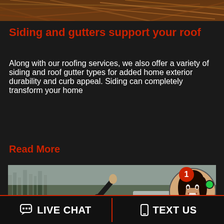[Figure (photo): Top partial photo showing tangled copper wires or roots with warm brown and orange tones]
Siding and gutters support your roof
Along with our roofing services, we also offer a variety of siding and roof gutter types for added home exterior durability and curb appeal. Siding can completely transform your home
Read More
[Figure (photo): Photo of people at an outdoor event raising their hands, with trees and vehicles in background. Overlay shows a chat agent (woman smiling), notification badge with '1', green online dot, and 'Online Agent' label in red]
[Figure (screenshot): Bottom chat bar with two buttons: LIVE CHAT (with speech bubble icon) and TEXT US (with phone icon), separated by red divider on dark background]